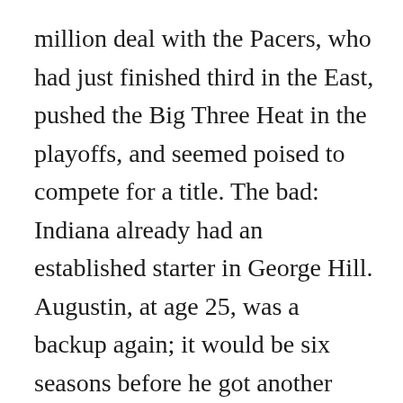million deal with the Pacers, who had just finished third in the East, pushed the Big Three Heat in the playoffs, and seemed poised to compete for a title. The bad: Indiana already had an established starter in George Hill. Augustin, at age 25, was a backup again; it would be six seasons before he got another full-time starting job.